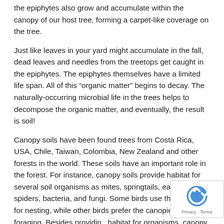the epiphytes also grow and accumulate within the canopy of our host tree, forming a carpet-like coverage on the tree.
Just like leaves in your yard might accumulate in the fall, dead leaves and needles from the treetops get caught in the epiphytes. The epiphytes themselves have a limited life span. All of this “organic matter” begins to decay. The naturally-occurring microbial life in the trees helps to decompose the organic matter, and eventually, the result is soil!
Canopy soils have been found trees from Costa Rica, USA, Chile, Taiwan, Colombia, New Zealand and other forests in the world. These soils have an important role in the forest. For instance, canopy soils provide habitat for several soil organisms as mites, springtails, earthworms, spiders, bacteria, and fungi. Some birds use the canopy for nesting, while other birds prefer the canopies for foraging. Besides providing habitat for organisms, canopy soils also regulate the cli within the canopy.